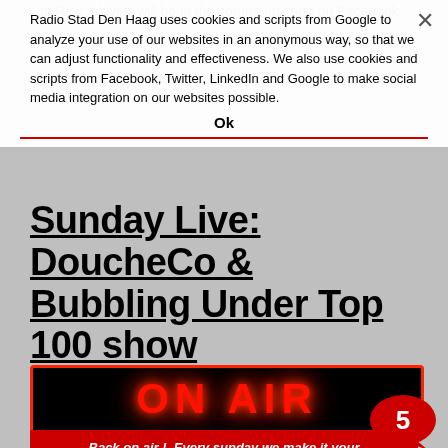to Rick, playlist will be in the comments, and on Facebook
Radio Stad Den Haag uses cookies and scripts from Google to analyze your use of our websites in an anonymous way, so that we can adjust functionality and effectiveness. We also use cookies and scripts from Facebook, Twitter, LinkedIn and Google to make social media integration on our websites possible.
Ok
Sunday Live: DoucheCo & Bubbling Under Top 100 show 20211219
[Figure (photo): ON AIR neon sign — bright red glowing text reading 'ON AIR' on black background with red border]
[Figure (infographic): Red speech bubble with number 5 inside]
Back on air !. Every sunday we make it your